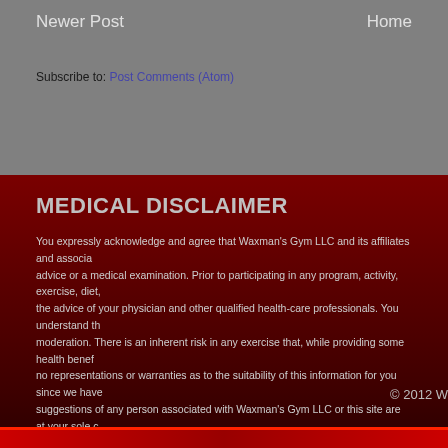Newer Post    Home
Subscribe to: Post Comments (Atom)
MEDICAL DISCLAIMER
You expressly acknowledge and agree that Waxman's Gym LLC and its affiliates and associa... advice or a medical examination. Prior to participating in any program, activity, exercise, diet, the advice of your physician and other qualified health-care professionals. You understand th moderation. There is an inherent risk in any exercise that, while providing some health benef no representations or warranties as to the suitability of this information for you since we have suggestions of any person associated with Waxman's Gym LLC or this site are at your sole c
© 2012 W